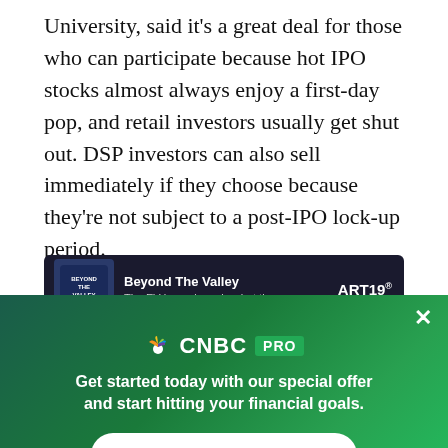University, said it's a great deal for those who can participate because hot IPO stocks almost always enjoy a first-day pop, and retail investors usually get shut out. DSP investors can also sell immediately if they choose because they're not subject to a post-IPO lock-up period.
[Figure (screenshot): CNBC PRO promotional overlay over a podcast bar showing 'Beyond The Valley' podcast with ART19 branding. The overlay has a green gradient background with CNBC PRO logo, tagline 'Get started today with our special offer and start hitting your financial goals.' and a SUBSCRIBE NOW button.]
[Figure (logo): CNBC footer navigation bar with CNBC peacock logo on the left and social media icons (Facebook, Twitter, LinkedIn, Email) on the right.]